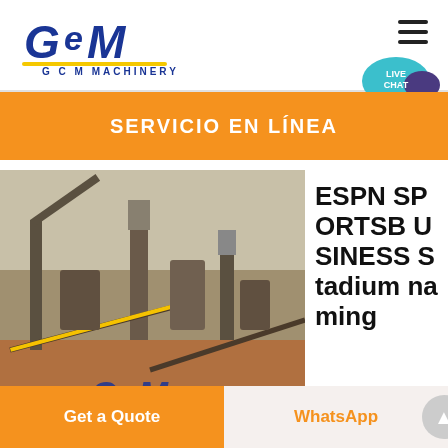[Figure (logo): GCM Machinery logo with stylized blue GCM text and yellow underline, subtitle G C M MACHINERY]
[Figure (illustration): Hamburger menu icon (three horizontal bars)]
[Figure (illustration): Live Chat speech bubble icon in teal/blue with text LIVE CHAT]
SERVICIO EN LÍNEA
[Figure (photo): Mining/quarry machinery facility with conveyor belts, crushers, and industrial equipment. GCM logo watermark visible in the foreground.]
ESPN SPORTSB USINESS Stadium naming
Get a Quote
WhatsApp